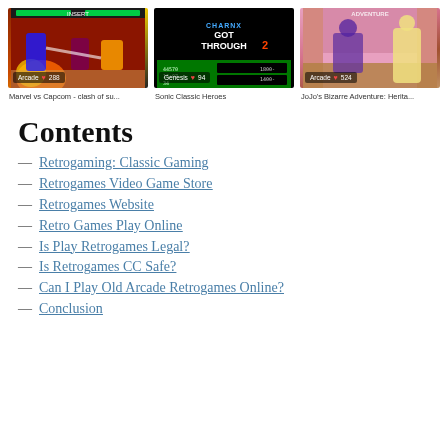[Figure (screenshot): Three retro game thumbnails: Marvel vs Capcom, Sonic Classic Heroes, JoJo's Bizarre Adventure]
Marvel vs Capcom - clash of su...
Sonic Classic Heroes
JoJo's Bizarre Adventure: Herita...
Contents
Retrogaming: Classic Gaming
Retrogames Video Game Store
Retrogames Website
Retro Games Play Online
Is Play Retrogames Legal?
Is Retrogames CC Safe?
Can I Play Old Arcade Retrogames Online?
Conclusion